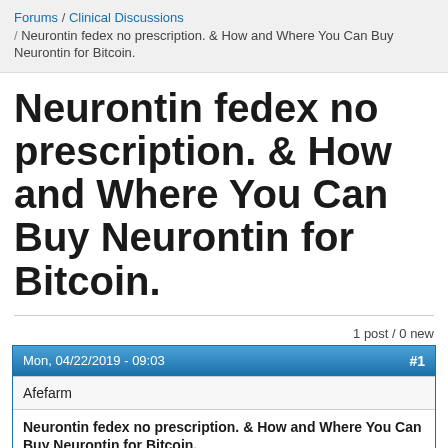Forums / Clinical Discussions / Neurontin fedex no prescription. & How and Where You Can Buy Neurontin for Bitcoin.
Neurontin fedex no prescription. & How and Where You Can Buy Neurontin for Bitcoin.
1 post / 0 new
| Mon, 04/22/2019 - 09:03 | #1 |
| --- | --- |
| Afefarm |  |
| Neurontin fedex no prescription. & How and Where You Can Buy Neurontin for Bitcoin. |  |
| Neurontin fedex no prescription |  |